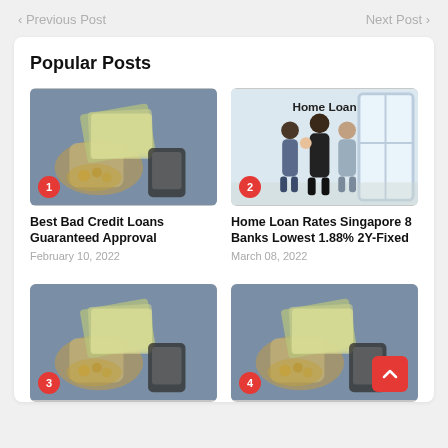< Previous Post    Next Post >
Popular Posts
[Figure (photo): Person holding cash and phone, numbered badge 1]
Best Bad Credit Loans Guaranteed Approval
February 10, 2022
[Figure (photo): Family in home, Home Loan label, numbered badge 2]
Home Loan Rates Singapore 8 Banks Lowest 1.88% 2Y-Fixed
March 08, 2022
[Figure (photo): Person holding cash and phone, numbered badge 3]
[Figure (photo): Person holding cash and phone, numbered badge 4]